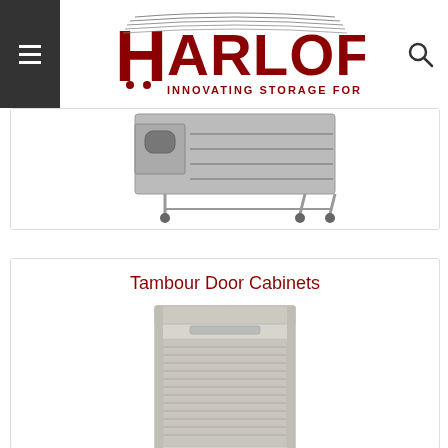[Figure (logo): Harloff logo - red stylized text with H and ARLOFF, subtitle INNOVATING STORAGE FOR CARE]
[Figure (photo): Partially visible gray medical/storage cart on casters]
Tambour Door Cabinets
[Figure (photo): Gray tambour door cabinet - tall upright cabinet with a roll-up slatted door, shown partially]